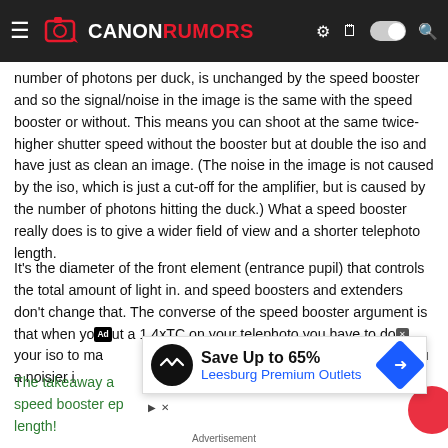CANONRUMORS
number of photons per duck, is unchanged by the speed booster and so the signal/noise in the image is the same with the speed booster or without. This means you can shoot at the same twice-higher shutter speed without the booster but at double the iso and have just as clean an image. (The noise in the image is not caused by the iso, which is just a cut-off for the amplifier, but is caused by the number of photons hitting the duck.) What a speed booster really does is to give a wider field of view and a shorter telephoto length.
It's the diameter of the front element (entrance pupil) that controls the total amount of light in. and speed boosters and extenders don't change that. The converse of the speed booster argument is that when you put a 1.4xTC on your telephoto you have to double your iso to ma[...] ve you a noisier i[...]
[Figure (infographic): Advertisement banner: Save Up to 65% Leesburg Premium Outlets with logo and navigation icon]
Advertisement
The take[...] a speed booster [...] ep [...] length!